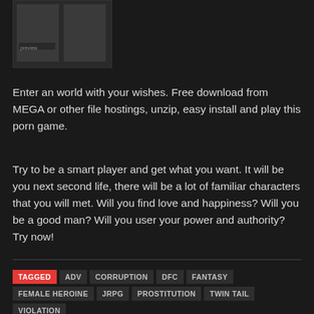[Figure (photo): Thumbnail image at top left, partially visible, dark/grainy content]
Enter an world with your wishes. Free download from MEGA or other file hostings, unzip, easy install and play this porn game.
Try to be a smart player and get what you want. It will be you next second life, there will be a lot of familiar characters that you will met. Will you find love and happiness? Will you be a good man? Will you user your power and authority? Try now!
TAGGED  ADV  CORRUPTION  DFC  FANTASY  FEMALE HEROINE  JRPG  PROSTITUTION  TWIN TAIL  VIOLATION